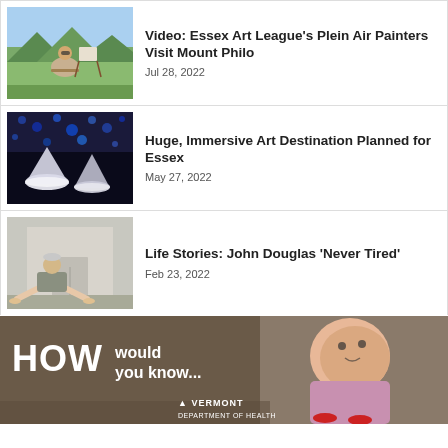[Figure (photo): Woman painting outdoors at Mount Philo]
Video: Essex Art League's Plein Air Painters Visit Mount Philo
Jul 28, 2022
[Figure (photo): Mushroom-like art installation with blue ceiling]
Huge, Immersive Art Destination Planned for Essex
May 27, 2022
[Figure (photo): Man sitting barefoot outside a building]
Life Stories: John Douglas 'Never Tired'
Feb 23, 2022
[Figure (photo): Vermont Department of Health advertisement: HOW would you know... with baby image]